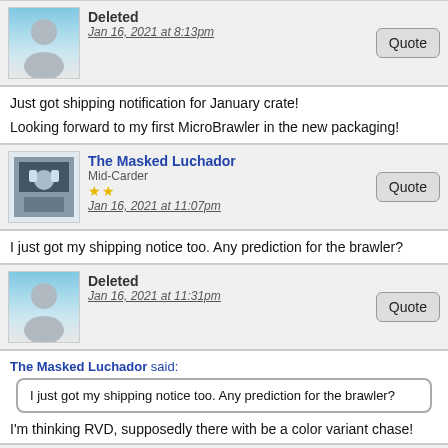Deleted
Jan 16, 2021 at 8:13pm
Just got shipping notification for January crate!

Looking forward to my first MicroBrawler in the new packaging!
The Masked Luchador
Mid-Carder
Jan 16, 2021 at 11:07pm
I just got my shipping notice too. Any prediction for the brawler?
Deleted
Jan 16, 2021 at 11:31pm
The Masked Luchador said:
I just got my shipping notice too. Any prediction for the brawler?

I'm thinking RVD, supposedly there with be a color variant chase!
WOOOOOO
Main Eventer